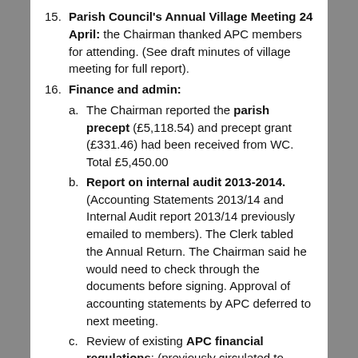15. Parish Council's Annual Village Meeting 24 April: the Chairman thanked APC members for attending. (See draft minutes of village meeting for full report).
16. Finance and admin:
a. The Chairman reported the parish precept (£5,118.54) and precept grant (£331.46) had been received from WC. Total £5,450.00
b. Report on internal audit 2013-2014. (Accounting Statements 2013/14 and Internal Audit report 2013/14 previously emailed to members). The Clerk tabled the Annual Return. The Chairman said he would need to check through the documents before signing. Approval of accounting statements by APC deferred to next meeting.
c. Review of existing APC financial regulations: (previously circulated to members). The Clerk reported the only update was a new